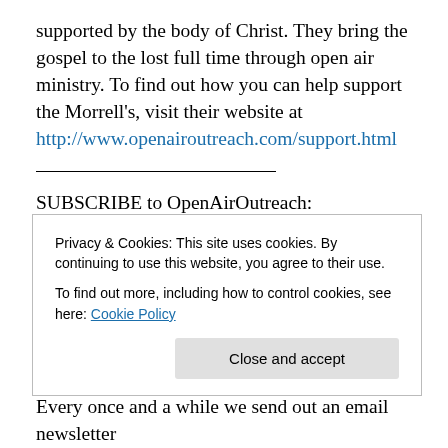supported by the body of Christ. They bring the gospel to the lost full time through open air ministry. To find out how you can help support the Morrell's, visit their website at http://www.openairoutreach.com/support.html
SUBSCRIBE to OpenAirOutreach: http://www.youtube.com/subscription_center?add_user=openairoutreach
And SUBSCRIBE to BibleTheology:
Privacy & Cookies: This site uses cookies. By continuing to use this website, you agree to their use. To find out more, including how to control cookies, see here: Cookie Policy
Close and accept
Every once and a while we send out an email newsletter